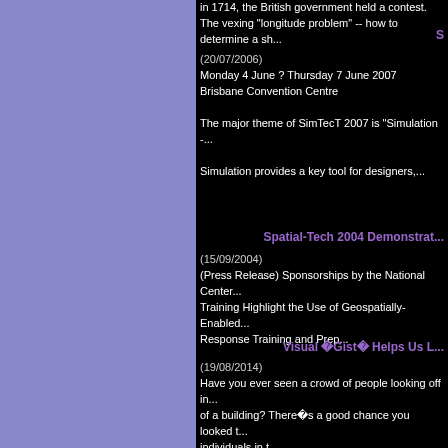in 1714, the British government held a contest. The vexing "longitude problem" -- how to determine a sh...
S...
(20/07/2006)
Monday 4 June ? Thursday 7 June 2007
Brisbane Convention Centre

The major theme of SimTecT 2007 is "Simulation -...

Simulation provides a key tool for designers,...
Spatial-Tech 2004 Demonstrat...
(15/09/2004)
(Press Release) Sponsorships by the National Center... Training Highlight the Use of Geospatially-Enabled... Response Training and Prep...
Visual �Gist� Helps Us L...
(19/08/2014)
Have you ever seen a crowd of people looking off in... of a building? There�s a good chance you looked t... individuals in t...